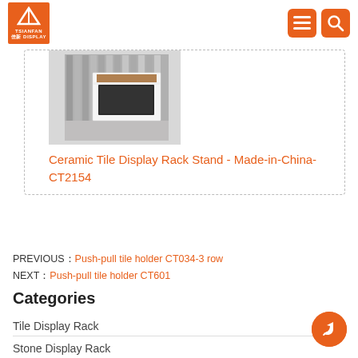TSIANFAN DISPLAY
[Figure (photo): Ceramic tile display rack product photo showing a white room-style display stand with tile samples]
Ceramic Tile Display Rack Stand - Made-in-China-CT2154
PREVIOUS：Push-pull tile holder CT034-3 row
NEXT：Push-pull tile holder CT601
Categories
Tile Display Rack
Stone Display Rack